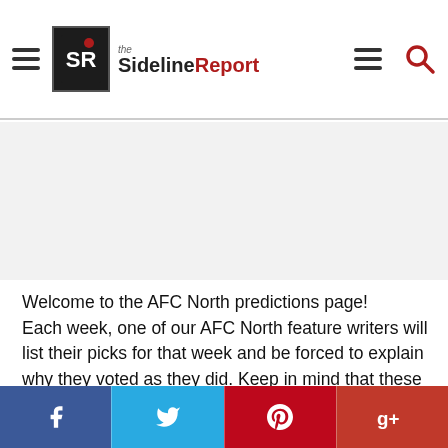the SidelineReport
[Figure (other): Advertisement / blank ad space]
Welcome to the AFC North predictions page! Each week, one of our AFC North feature writers will list their picks for that week and be forced to explain why they voted as they did. Keep in mind that these picks are for entertainment purposes only, and in no way should be used to influence gambling or illegal activity, unless you're
[Figure (infographic): Social share bar with Facebook, Twitter, Pinterest, and Google+ buttons]